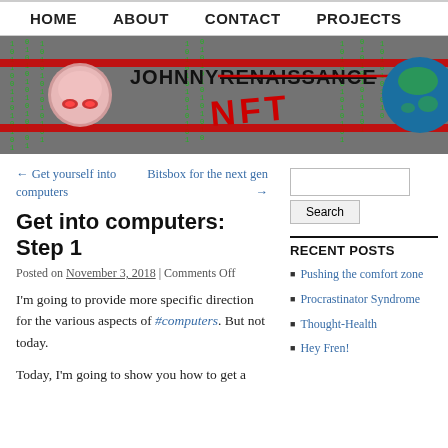HOME   ABOUT   CONTACT   PROJECTS
[Figure (illustration): Johnny Renaissance NFT banner image with binary code background, brain logo, earth globe, red stripe, and NFT text in red graffiti style]
← Get yourself into computers
Bitsbox for the next gen →
Get into computers: Step 1
Posted on November 3, 2018 | Comments Off
I'm going to provide more specific direction for the various aspects of #computers. But not today.
Today, I'm going to show you how to get a
RECENT POSTS
Pushing the comfort zone
Procrastinator Syndrome
Thought-Health
Hey Fren!